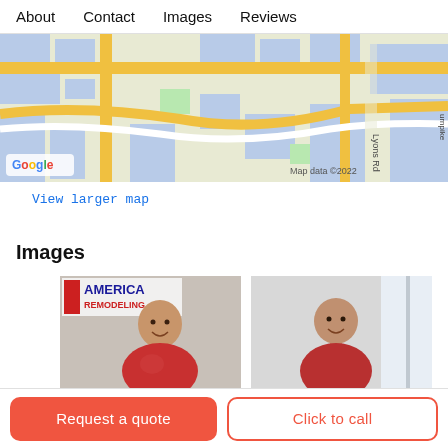About   Contact   Images   Reviews
[Figure (map): Google Maps screenshot showing road map with Lyons Rd, yellow roads, blue buildings/water, and 'Map data ©2022' label in bottom right, Google logo in bottom left.]
View larger map
Images
[Figure (photo): Photo showing a smiling man in a red Hawaiian shirt in front of an America Remodeling logo/sign.]
[Figure (photo): Photo showing a smiling man in a red shirt standing near a window with light background.]
Request a quote
Click to call